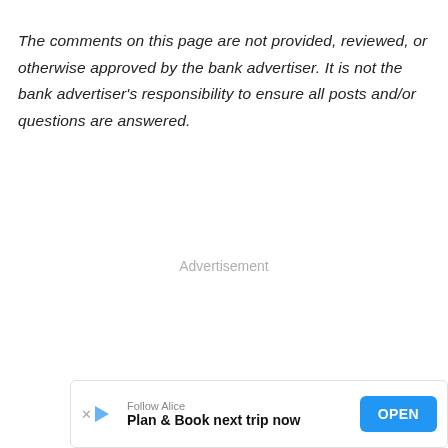The comments on this page are not provided, reviewed, or otherwise approved by the bank advertiser. It is not the bank advertiser's responsibility to ensure all posts and/or questions are answered.
Advertisement
[Figure (other): Mobile app advertisement banner: Follow Alice – Plan & Book next trip now, with an OPEN button]